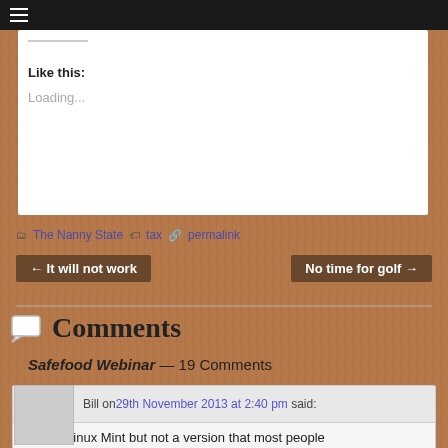☰
Like this:
Loading...
The Nanny State  tax  permalink
← It will not work
No time for golf →
Comments
Safefood Webinar — 19 Comments
Bill on 29th November 2013 at 2:40 pm said:
OK, it's Linux Mint but not a version that most people